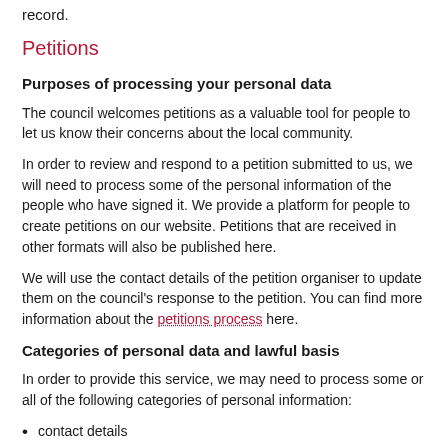record.
Petitions
Purposes of processing your personal data
The council welcomes petitions as a valuable tool for people to let us know their concerns about the local community.
In order to review and respond to a petition submitted to us, we will need to process some of the personal information of the people who have signed it. We provide a platform for people to create petitions on our website. Petitions that are received in other formats will also be published here.
We will use the contact details of the petition organiser to update them on the council's response to the petition. You can find more information about the petitions process here.
Categories of personal data and lawful basis
In order to provide this service, we may need to process some or all of the following categories of personal information:
contact details